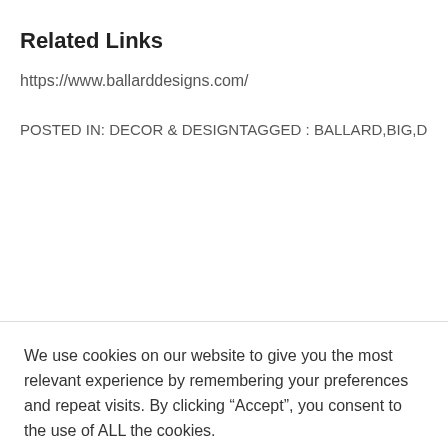Related Links
https://www.ballarddesigns.com/
POSTED IN: DECOR & DESIGNTAGGED : BALLARD,BIG,DESIGN,DESIGNS,EYES,FURNITURE,INTERIOR,R
We use cookies on our website to give you the most relevant experience by remembering your preferences and repeat visits. By clicking “Accept”, you consent to the use of ALL the cookies.
Cookie settings  ACCEPT